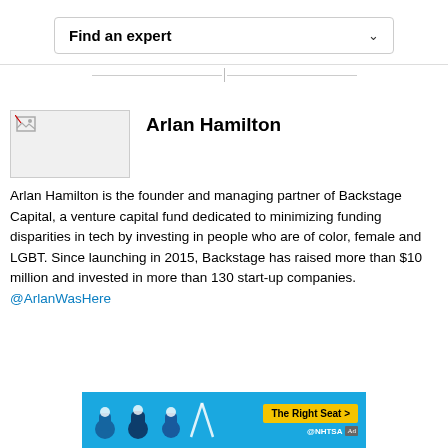Find an expert
Arlan Hamilton
Arlan Hamilton is the founder and managing partner of Backstage Capital, a venture capital fund dedicated to minimizing funding disparities in tech by investing in people who are of color, female and LGBT. Since launching in 2015, Backstage has raised more than $10 million and invested in more than 130 start-up companies. @ArlanWasHere
[Figure (infographic): NHTSA car seat safety advertisement banner with blue background, car seat icons, yellow button reading 'The Right Seat >']